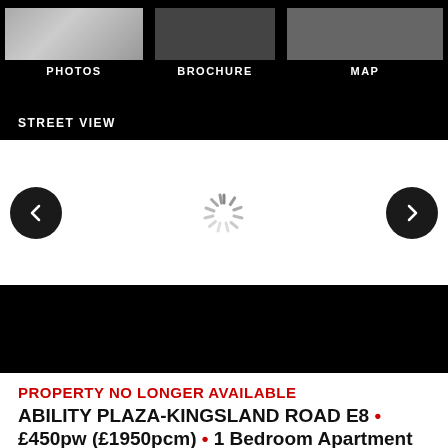[Figure (screenshot): Navigation bar with PHOTOS, BROCHURE, MAP thumbnail tabs on black background]
STREET VIEW
[Figure (screenshot): Carousel area with left arrow button, loading spinner, and right arrow button on white background]
[Figure (photo): Black band/dark image area]
PROPERTY NO LONGER AVAILABLE
ABILITY PLAZA-KINGSLAND ROAD E8 • £450pw (£1950pcm) • 1 Bedroom Apartment